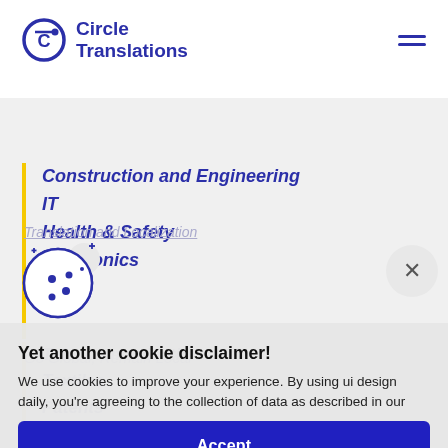[Figure (logo): Circle Translations logo — circular CT icon in dark blue and a two-line wordmark 'Circle Translations' in dark blue bold.]
Construction and Engineering
IT
Health & Safety
Electronics
Telecommunications
Textiles
Patents
Safety Data Sheets
Translation and Localization
Go Global, Remain Local
[Figure (illustration): Cookie icon — a cookie with bite taken out, decorated with small dots and sparkles, rendered in dark blue outline style.]
Yet another cookie disclaimer!
We use cookies to improve your experience. By using ui design daily, you're agreeing to the collection of data as described in our
Accept
Decline